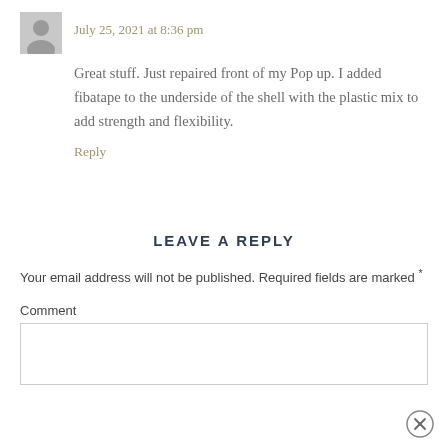July 25, 2021 at 8:36 pm
Great stuff. Just repaired front of my Pop up. I added fibatape to the underside of the shell with the plastic mix to add strength and flexibility.
Reply
LEAVE A REPLY
Your email address will not be published. Required fields are marked *
Comment